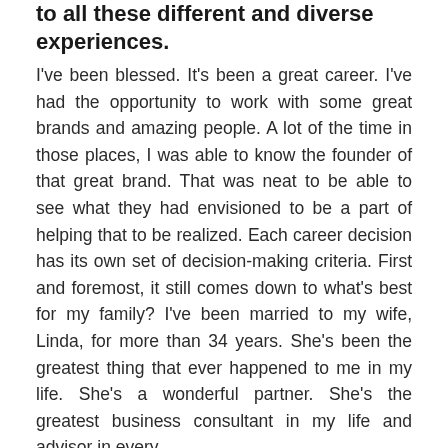to all these different and diverse experiences.
I've been blessed. It's been a great career. I've had the opportunity to work with some great brands and amazing people. A lot of the time in those places, I was able to know the founder of that great brand. That was neat to be able to see what they had envisioned to be a part of helping that to be realized. Each career decision has its own set of decision-making criteria. First and foremost, it still comes down to what's best for my family? I've been married to my wife, Linda, for more than 34 years. She's been the greatest thing that ever happened to me in my life. She's a wonderful partner. She's the greatest business consultant in my life and advisor in every